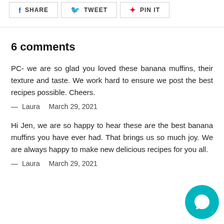SHARE   TWEET   PIN IT
6 comments
PC- we are so glad you loved these banana muffins, their texture and taste. We work hard to ensure we post the best recipes possible. Cheers.
— Laura   March 29, 2021
Hi Jen, we are so happy to hear these are the best banana muffins you have ever had. That brings us so much joy. We are always happy to make new delicious recipes for you all.
— Laura   March 29, 2021